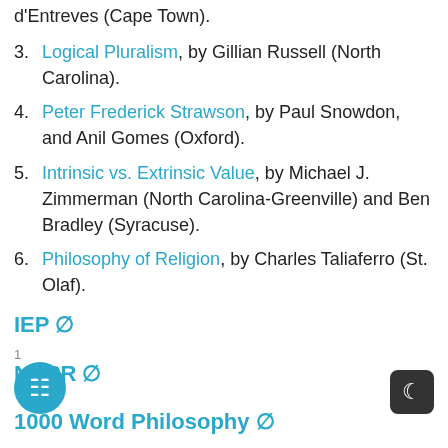d'Entreves (Cape Town).
3. Logical Pluralism, by Gillian Russell (North Carolina).
4. Peter Frederick Strawson, by Paul Snowdon, and Anil Gomes (Oxford).
5. Intrinsic vs. Extrinsic Value, by Michael J. Zimmerman (North Carolina-Greenville) and Ben Bradley (Syracuse).
6. Philosophy of Religion, by Charles Taliaferro (St. Olaf).
IEP ∅
NDPR ∅
1000 Word Philosophy ∅